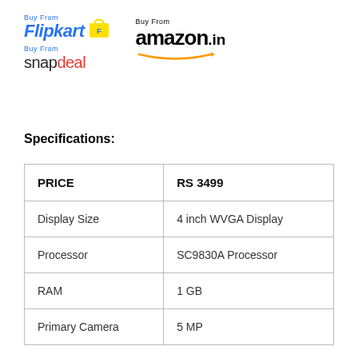[Figure (logo): Buy From Flipkart logo with bag icon, Buy From Snapdeal logo, and Buy From amazon.in logo]
Specifications:
| PRICE | RS 3499 |
| --- | --- |
| Display Size | 4 inch WVGA Display |
| Processor | SC9830A Processor |
| RAM | 1 GB |
| Primary Camera | 5 MP |